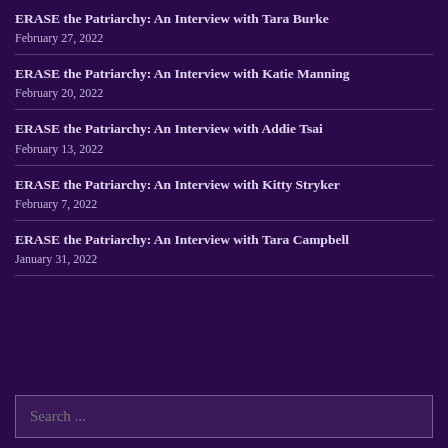ERASE the Patriarchy: An Interview with Tara Burke
February 27, 2022
ERASE the Patriarchy: An Interview with Katie Manning
February 20, 2022
ERASE the Patriarchy: An Interview with Addie Tsai
February 13, 2022
ERASE the Patriarchy: An Interview with Kitty Stryker
February 7, 2022
ERASE the Patriarchy: An Interview with Tara Campbell
January 31, 2022
Search ...